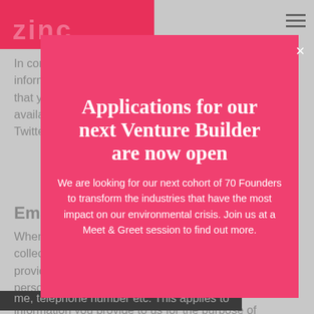[Figure (screenshot): Zinc website header with pink logo block showing 'zinc' text in pink on dark pink background, hamburger menu icon top right]
In considering your application we may also obtain information from other sources including any referees that you specify, educational institutions and publicly available sources including LinkedIn, Facebook and Twitter.
Emails
When we receive an email to a zinc email address Zinc collects that email address and any information that is provided within that email. This could be classed as personal information such as name, telephone number etc. This applies to information you provide to us for the purpose of
Applications for our next Venture Builder are now open
We are looking for our next cohort of 70 Founders to transform the industries that have the most impact on our environmental crisis. Join us at a Meet & Greet session to find out more.